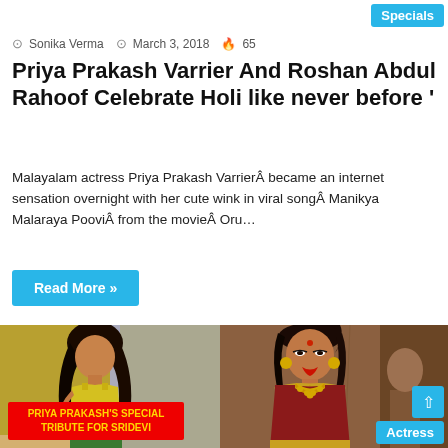Specials
Sonika Verma  March 3, 2018  65
Priya Prakash Varrier And Roshan Abdul Rahoof Celebrate Holi like never before '
Malayalam actress Priya Prakash VarrierÂ became an internet sensation overnight with her cute wink in viral songÂ Manikya Malaraya PooviÂ from the movieÂ Oru...
Read More »
[Figure (photo): Two photos side by side: left shows a young woman in a yellow top against a yellow/green background; right shows a woman in a red silk saree with gold jewelry. A red banner overlay on the left image reads 'PRIYA PRAKASH'S SPECIAL TRIBUTE FOR SRIDEVI' in yellow bold text.]
PRIYA PRAKASH'S SPECIAL TRIBUTE FOR SRIDEVI
Actress